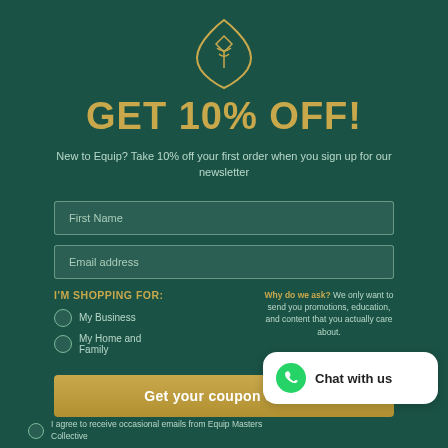[Figure (logo): Gold leaf/diamond shaped logo icon on dark green background]
GET 10% OFF!
New to Equip? Take 10% off your first order when you sign up for our newsletter
First Name
Email address
I'M SHOPPING FOR:
My Business
My Home and Family
Why do we ask? We only want to send you promotions, education, and content that you actually care about.
Get your coupon code!
Chat with us
I agree to receive occasional emails from Equip Masters Collective